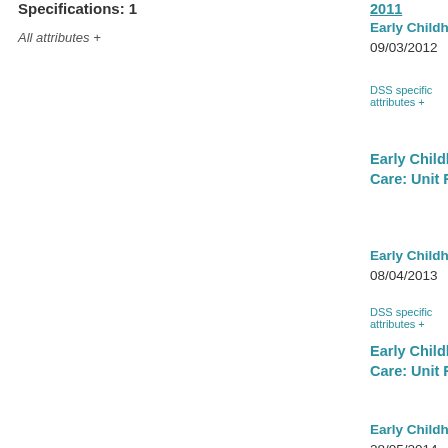Specifications: 1
All attributes +
2011
Early Childhood, Superseded 09/03/2012
DSS specific attributes +
Early Childhood Education and Care: Unit Record Level NMDS 2012
Early Childhood, Superseded 08/04/2013
DSS specific attributes +
Early Childhood Education and Care: Unit Record Level NMDS 2013
Early Childhood, Superseded 28/05/2014